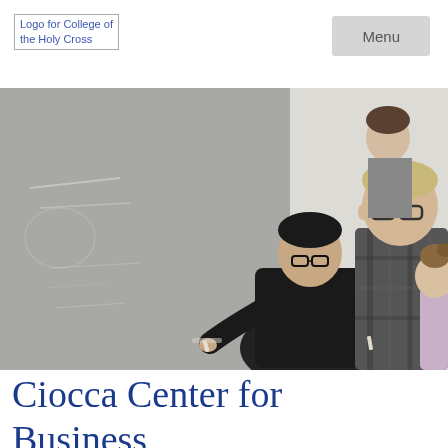[Figure (logo): Logo for College of the Holy Cross — broken image placeholder with alt text]
[Figure (photo): Students writing on a chalkboard in a classroom setting. One student in a dark hoodie leans forward writing on the board, another in a plaid shirt watches, and a third student is partially visible on the right.]
Ciocca Center for Business,